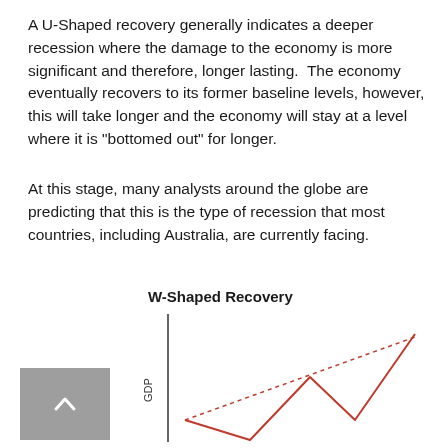A U-Shaped recovery generally indicates a deeper recession where the damage to the economy is more significant and therefore, longer lasting.  The economy eventually recovers to its former baseline levels, however, this will take longer and the economy will stay at a level where it is "bottomed out" for longer.
At this stage, many analysts around the globe are predicting that this is the type of recession that most countries, including Australia, are currently facing.
[Figure (continuous-plot): A line chart showing a W-shaped economic recovery. A solid red line traces a W pattern (decline, partial recovery, second decline, strong recovery) while a dotted red line shows a projected baseline trend upward.]